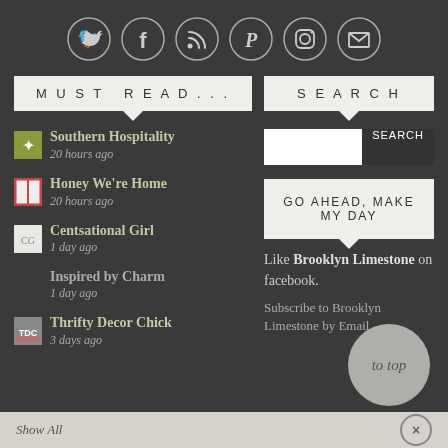[Figure (infographic): Row of 6 social media icon circles (Twitter, Facebook, RSS, Pinterest, Instagram, Email) on dark background]
MUST READ...
Southern Hospitality - 20 hours ago
Honey We're Home - 20 hours ago
Centsational Girl - 1 day ago
Inspired by Charm - 1 day ago
Thrifty Decor Chick - 3 days ago
SEARCH
GO AHEAD, MAKE MY DAY
Like Brooklyn Limestone on facebook.
Subscribe to Brooklyn Limestone by Email
to top
Show All